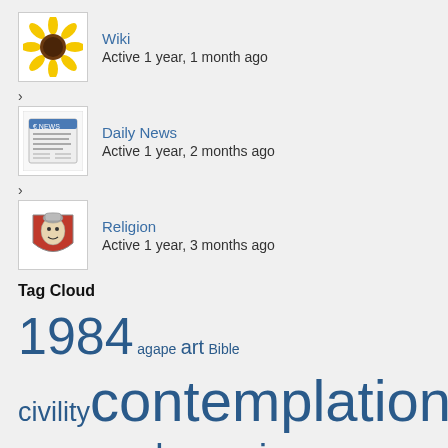Wiki
Active 1 year, 1 month ago
Daily News
Active 1 year, 2 months ago
Religion
Active 1 year, 3 months ago
Tag Cloud
1984 agape art Bible civility contemplation corruption demonic demons education freedom friendship hidden historical humor hypocrisy illusion indoctrination inversion JM just-saying language liberalism